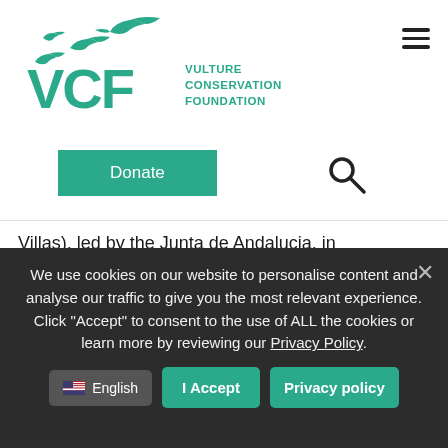[Figure (logo): VCF Vulture Conservation Foundation logo with teal vulture silhouettes and large VCF letters]
[Figure (other): Donate button (teal) and search icon]
Villas), led by the Junta de Andalucia, in collaboration with Fondaci&oacute;n Gypaetus and the VCF, started back in 1996, with the first birds being released in 2006 following their extinction in the area in the 1980's. Since 2006 52 birds have been released in the area, with the releases becoming a popular annual fixture in the diary for locals
We use cookies on our website to personalise content and analyse our traffic to give you the most relevant experience. Click "Accept" to consent to the use of ALL the cookies or learn more by reviewing our Privacy Policy.